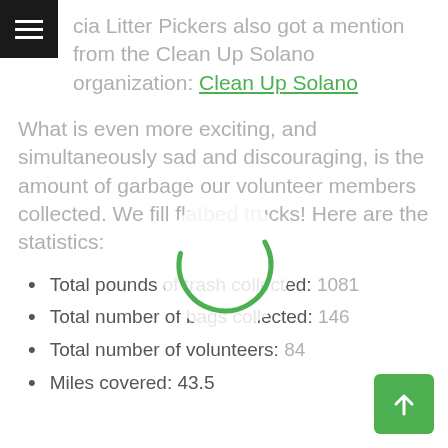...cia Litter Pickers also got a mention from the Clean Up Solano organization: Clean Up Solano
What is even more exciting, and simultaneously sad and discouraging, is the amount of garbage our volunteer members collected. We fill flatbed trucks! Here are the statistics:
Total pounds of trash collected: 1081
Total number of bags collected: 146
Total number of volunteers: 84
Miles covered: 43.5